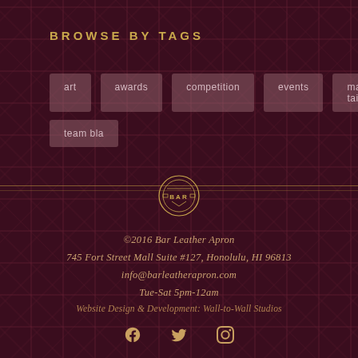BROWSE BY TAGS
art
awards
competition
events
mai tai
team bla
[Figure (logo): Bar Leather Apron circular logo with BAR text]
©2016 Bar Leather Apron
745 Fort Street Mall Suite #127, Honolulu, HI 96813
info@barleatherapron.com
Tue-Sat 5pm-12am
Website Design & Development: Wall-to-Wall Studios
[Figure (infographic): Social media icons: Facebook, Twitter, Instagram]